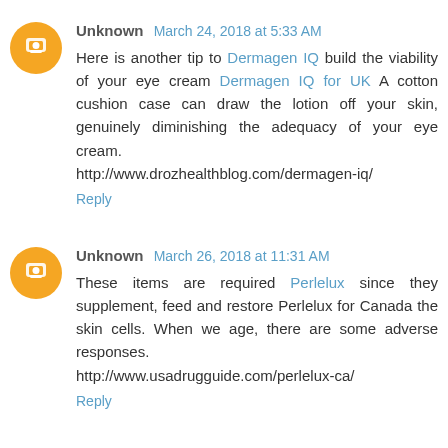Unknown March 24, 2018 at 5:33 AM
Here is another tip to Dermagen IQ build the viability of your eye cream Dermagen IQ for UK A cotton cushion case can draw the lotion off your skin, genuinely diminishing the adequacy of your eye cream.
http://www.drozhealthblog.com/dermagen-iq/
Reply
Unknown March 26, 2018 at 11:31 AM
These items are required Perlelux since they supplement, feed and restore Perlelux for Canada the skin cells. When we age, there are some adverse responses.
http://www.usadrugguide.com/perlelux-ca/
Reply
Unknown March 30, 2018 at 7:02 AM
Nitridex On the off chance that you keep on usingpills for a broadened timeframe, you will understand the numerous